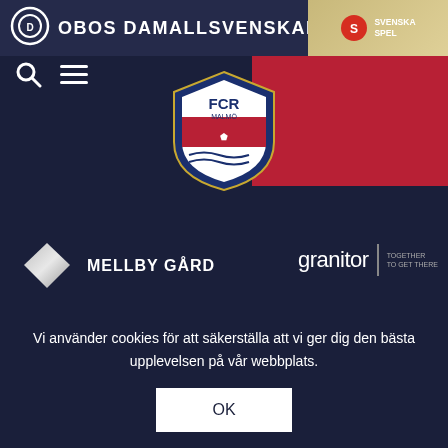OBOS DAMALLSVENSKAN
[Figure (logo): FCR Malmö club shield logo in center top navigation]
[Figure (logo): Svenska Spel logo in top right golden area]
[Figure (logo): Mellby Gård sponsor logo with diamond icon]
[Figure (logo): Granitor together to get there sponsor logo]
Vi använder cookies för att säkerställa att vi ger dig den bästa upplevelsen på vår webbplats.
OK